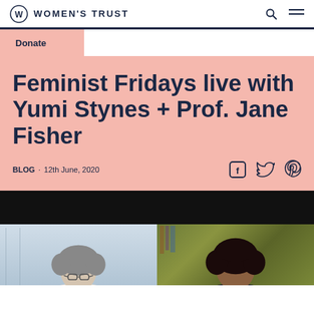WOMEN'S TRUST
Donate
Feminist Fridays live with Yumi Stynes + Prof. Jane Fisher
BLOG · 12th June, 2020
[Figure (photo): Screenshot of a video call showing two participants: on the left a person with grey curly hair and glasses in a white room, on the right a person with dark curly hair against a floral background, with a dark top bar.]